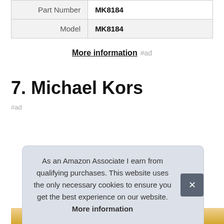| Part Number | MK8184 |
| Model | MK8184 |
More information #ad
7. Michael Kors
#ad
As an Amazon Associate I earn from qualifying purchases. This website uses the only necessary cookies to ensure you get the best experience on our website. More information